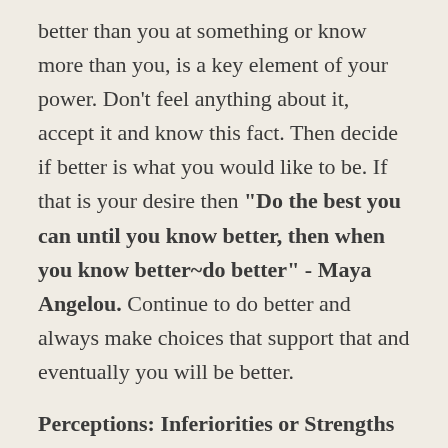better than you at something or know more than you, is a key element of your power. Don't feel anything about it, accept it and know this fact. Then decide if better is what you would like to be. If that is your desire then "Do the best you can until you know better, then when you know better~do better" - Maya Angelou. Continue to do better and always make choices that support that and eventually you will be better.
Perceptions: Inferiorities or Strengths
Noticing and then focusing on your inferiorities is a choice. You could just as easily decide to focus on your strengths and build upon those which shifts the focus from other people to yourself. Stoke your own fire. Then take that 'stoked fire' feel good strength and